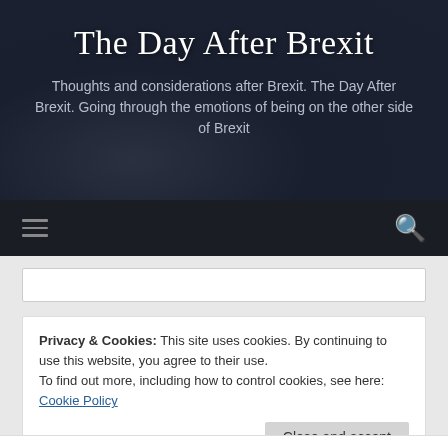The Day After Brexit
Thoughts and considerations after Brexit. The Day After Brexit. Going through the emotions of being on the other side of Brexit
[Figure (screenshot): Website navigation bar with hamburger menu icon on the left and search icon on the right, dark background]
Privacy & Cookies: This site uses cookies. By continuing to use this website, you agree to their use.
To find out more, including how to control cookies, see here: Cookie Policy
Close and accept